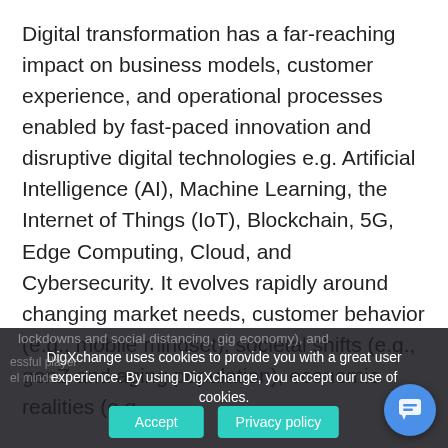Digital transformation has a far-reaching impact on business models, customer experience, and operational processes enabled by fast-paced innovation and disruptive digital technologies e.g. Artificial Intelligence (AI), Machine Learning, the Internet of Things (IoT), Blockchain, 5G, Edge Computing, Cloud, and Cybersecurity. It evolves rapidly around changing market needs, customer behavior (e.g., mobile mindset), societal shifts (e.g., genZ and aging population), economic realities (e.g.,
lockdowns and social distancing, gig economy), and
DigXchange uses cookies to provide you with a great user experience. By using DigXchange, you accept our use of cookies.
Accept
Privacy policy